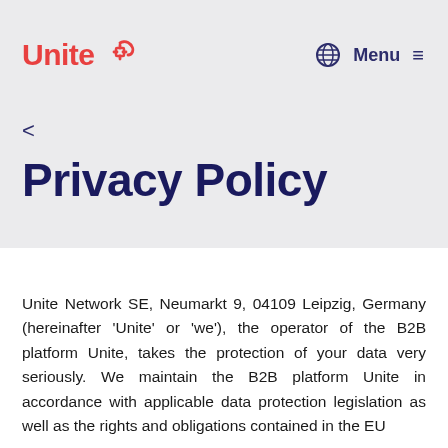Unite  Menu
Privacy Policy
Unite Network SE, Neumarkt 9, 04109 Leipzig, Germany (hereinafter 'Unite' or 'we'), the operator of the B2B platform Unite, takes the protection of your data very seriously. We maintain the B2B platform Unite in accordance with applicable data protection legislation as well as the rights and obligations contained in the EU